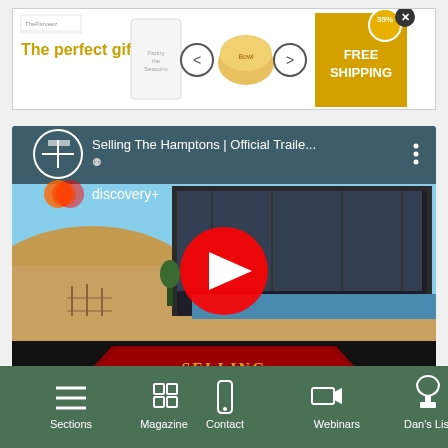[Figure (screenshot): Advertisement banner for TheParveez showing 'The perfect gift' text in gold, product images of bowls, navigation arrows, and a gold badge with '35% FREE SHIPPING' and an X close button]
[Figure (screenshot): YouTube video embed showing 'Selling The Hamptons | Official Traile...' with discovery+ branding, a beach house image with red carpet, and a red YouTube play button. Text overlay reads 'SELLING THE HAMPTONS OFFICIAL TRAILER']
[Figure (screenshot): Bottom navigation bar with dark green background showing icons and labels: Sections (hamburger menu), Magazine (grid), Contact (phone), Webinars (video camera), Dan's List (trophy)]